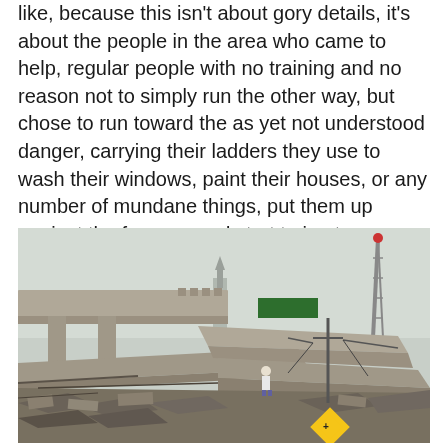like, because this isn't about gory details, it's about the people in the area who came to help, regular people with no training and no reason not to simply run the other way, but chose to run toward the as yet not understood danger, carrying their ladders they use to wash their windows, paint their houses, or any number of mundane things, put them up against the freeway and start trying to save the people trapped inside.
[Figure (photo): Black and white photograph showing a collapsed freeway overpass with large concrete sections pancaked and debris scattered around. Workers in hard hats can be seen on the rubble. A utility tower and other infrastructure visible in the background.]